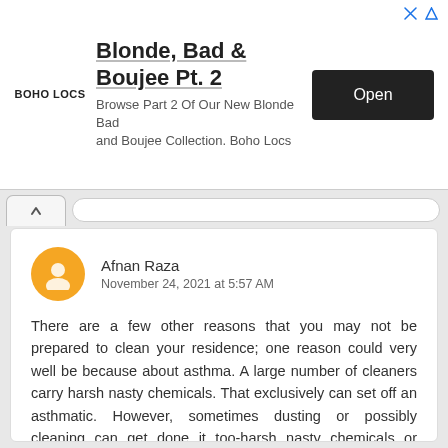[Figure (screenshot): Advertisement banner for Boho Locs: 'Blonde, Bad & Boujee Pt. 2' with Open button]
Afnan Raza
November 24, 2021 at 5:57 AM
There are a few other reasons that you may not be prepared to clean your residence; one reason could very well be because about asthma. A large number of cleaners carry harsh nasty chemicals. That exclusively can set off an asthmatic. However, sometimes dusting or possibly cleaning can get done it too-harsh nasty chemicals or basically no. If you can be asthmatic and additionally haven't bought around to make sure you dusting within the while, you definitely want to take a look into housecleaning companies which usually use eco-friendly, fumeless scanners. This solution, you can step out for a short while your place is cleaning and return to a excellent, clean, healthy home. maids in dubai